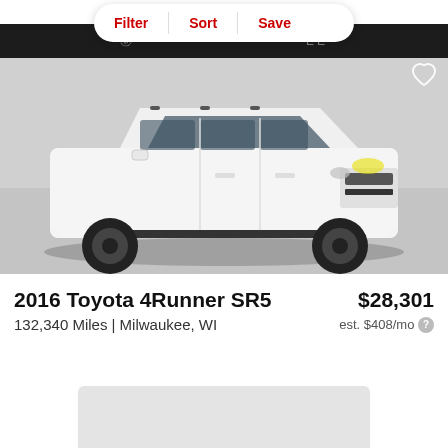Filter | Sort | Save
[Figure (photo): White 2016 Toyota 4Runner SR5 SUV photographed in a dealership showroom with black wheels and black accents, shot at a front three-quarter angle. Dark dealer banner visible at top.]
2016 Toyota 4Runner SR5
$28,301
132,340 Miles | Milwaukee, WI
est. $408/mo ?
[Figure (other): Partially visible gray card or image placeholder at the bottom of the page]